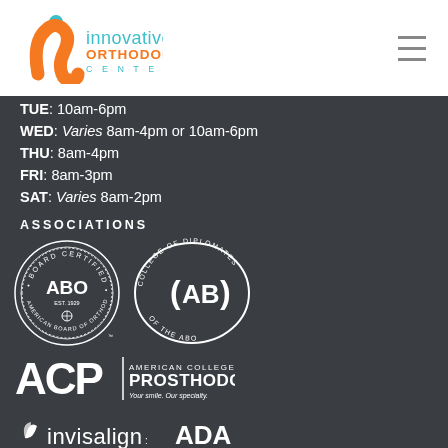[Figure (logo): Innovative Orthodontic Centers logo with orange swirl and teal text]
TUE: 10am-6pm
WED: Varies 8am-4pm or 10am-6pm
THU: 8am-4pm
FRI: 8am-3pm
SAT: Varies 8am-2pm
ASSOCIATIONS
[Figure (logo): American Board of Orthodontics Board Certified ABO Est. 1929 seal logo (white)]
[Figure (logo): College of Diplomates of the ABO logo (white)]
[Figure (logo): ACP American College of Prosthodontists - Your smile. Our specialty. logo (white)]
[Figure (logo): Invisalign logo (white, partially visible at bottom)]
[Figure (logo): ADA logo (white, partially visible at bottom)]